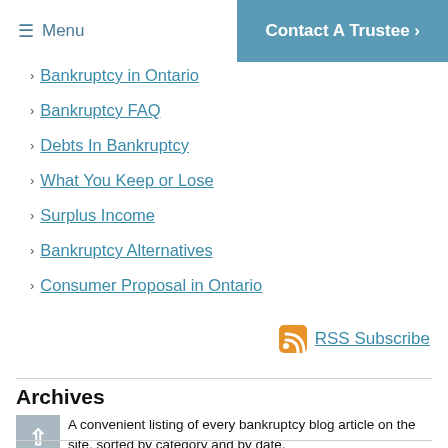Menu | Contact A Trustee ›
Bankruptcy in Ontario
Bankruptcy FAQ
Debts In Bankruptcy
What You Keep or Lose
Surplus Income
Bankruptcy Alternatives
Consumer Proposal in Ontario
RSS Subscribe
Archives
A convenient listing of every bankruptcy blog article on the site, sorted by category and by date.
View the Bankruptcy Blog archives ›